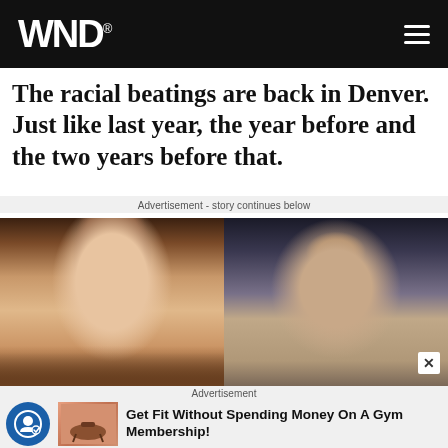WND
The racial beatings are back in Denver. Just like last year, the year before and the two years before that.
Advertisement - story continues below
[Figure (photo): Two photographs side by side: a smiling woman with brown hair and glasses on the left, and an older man with grey hair on the right.]
Advertisement
Get Fit Without Spending Money On A Gym Membership!